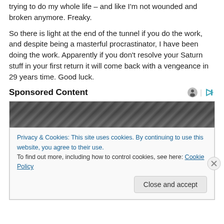trying to do my whole life – and like I'm not wounded and broken anymore. Freaky.
So there is light at the end of the tunnel if you do the work, and despite being a masterful procrastinator, I have been doing the work. Apparently if you don't resolve your Saturn stuff in your first return it will come back with a vengeance in 29 years time. Good luck.
Sponsored Content
[Figure (photo): Black and white photo strip at top of sponsored content ad]
Privacy & Cookies: This site uses cookies. By continuing to use this website, you agree to their use.
To find out more, including how to control cookies, see here: Cookie Policy